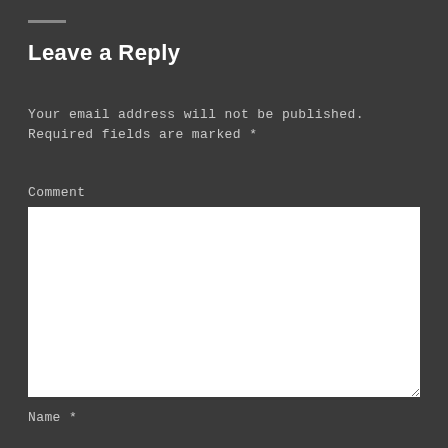Leave a Reply
Your email address will not be published. Required fields are marked *
Comment
[Figure (other): Empty comment textarea input field with white background and resize handle]
Name *